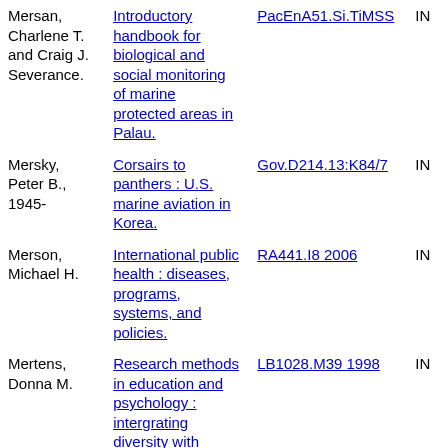| Author | Title | Call Number | Status |
| --- | --- | --- | --- |
| Mersan, Charlene T. and Craig J. Severance. | Introductory handbook for biological and social monitoring of marine protected areas in Palau. | PacEnA51.Si.TiMSS | IN |
| Mersky, Peter B., 1945- | Corsairs to panthers : U.S. marine aviation in Korea. | Gov.D214.13:K84/7 | IN |
| Merson, Michael H. | International public health : diseases, programs, systems, and policies. | RA441.I8 2006 | IN |
| Mertens, Donna M. | Research methods in education and psychology : intergrating diversity with quantitative & qualitative | LB1028.M39 1998 | IN |